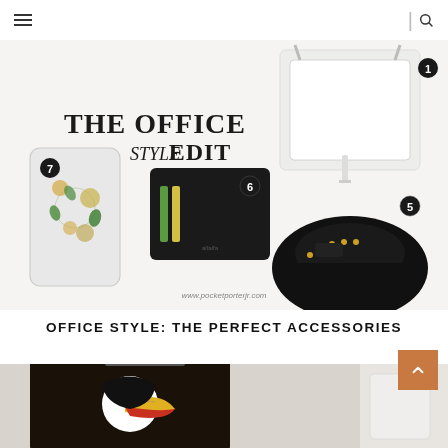Navigation header with hamburger menu and search icon
[Figure (photo): The Office Style Edit collage showing numbered office accessories: a white crossbody bag (#1), black studded loafers (#5), a black leather card holder/wallet (#6), a floral embellished phone case (#7), on a white background with watermark www.pocketporterjr.com]
OFFICE STYLE: THE PERFECT ACCESSORIES
[Figure (photo): Partial image of a toucan-themed clutch bag with colorful bird design on dark background, with another white accessory partially visible on right]
[Figure (other): Orange/brown scroll-to-top button with upward chevron arrow]